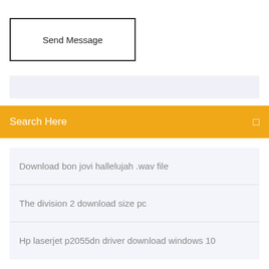Send Message
Search Here
Download bon jovi hallelujah .wav file
The division 2 download size pc
Hp laserjet p2055dn driver download windows 10